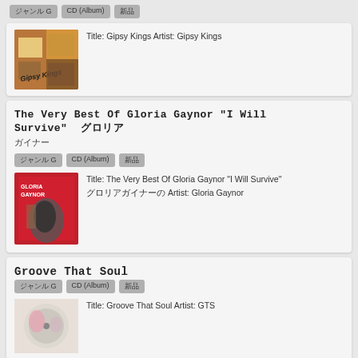ジャンル G | CD (Album) | 新品
[Figure (photo): Album cover for Gipsy Kings]
Title: Gipsy Kings Artist: Gipsy Kings
The Very Best Of Gloria Gaynor "I Will Survive" グロリア ガイナー
ジャンル G | CD (Album) | 新品
[Figure (photo): Album cover for The Very Best Of Gloria Gaynor I Will Survive]
Title: The Very Best Of Gloria Gaynor "I Will Survive" グロリアガイナーの Artist: Gloria Gaynor
Groove That Soul
ジャンル G | CD (Album) | 新品
[Figure (photo): Album cover for Groove That Soul]
Title: Groove That Soul Artist: GTS